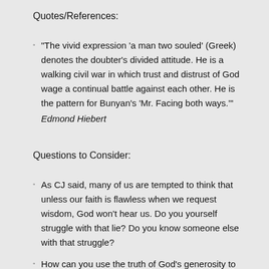Quotes/References:
"The vivid expression ‘a man two souled’ (Greek) denotes the doubter’s divided attitude. He is a walking civil war in which trust and distrust of God wage a continual battle against each other. He is the pattern for Bunyan’s ‘Mr. Facing both ways.’" Edmond Hiebert
Questions to Consider:
As CJ said, many of us are tempted to think that unless our faith is flawless when we request wisdom, God won’t hear us. Do you yourself struggle with that lie? Do you know someone else with that struggle?
How can you use the truth of God’s generosity to